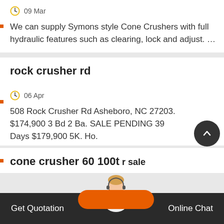09 Mar
We can supply Symons style Cone Crushers with full hydraulic features such as clearing, lock and adjust. …
rock crusher rd
06 Apr
508 Rock Crusher Rd Asheboro, NC 27203. $174,900 3 Bd 2 Ba. SALE PENDING 39 Days $179,900 5K. Ho.
cone crusher 60 100t r sale
Get Quotation   Online Chat